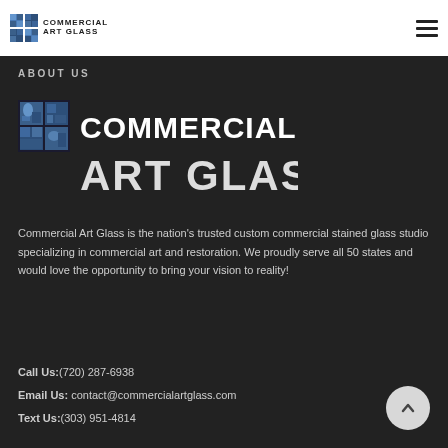Commercial Art Glass - navigation bar with logo and hamburger menu
ABOUT US
[Figure (logo): Commercial Art Glass logo — colored glass mosaic grid icon with COMMERCIAL ART GLASS text in white on dark background]
Commercial Art Glass is the nation's trusted custom commercial stained glass studio specializing in commercial art and restoration. We proudly serve all 50 states and would love the opportunity to bring your vision to reality!
Call Us:(720) 287-6938
Email Us: contact@commercialartglass.com
Text Us:(303) 951-4814